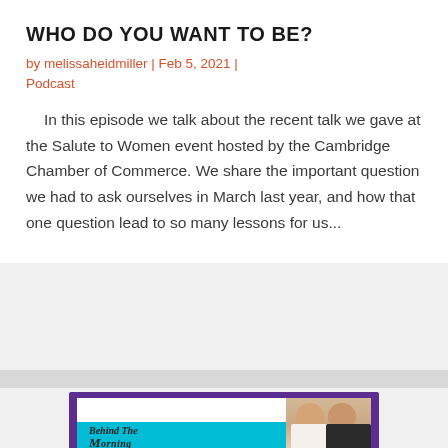WHO DO YOU WANT TO BE?
by melissaheidmiller | Feb 5, 2021 | Podcast
In this episode we talk about the recent talk we gave at the Salute to Women event hosted by the Cambridge Chamber of Commerce.  We share the important question we had to ask ourselves in March last year, and how that one question lead to so many lessons for us...
[Figure (photo): Podcast cover image showing two women smiling together. Purple border with white inner background, teal bar at bottom with 'Behind The Morning' text in italic serif font.]